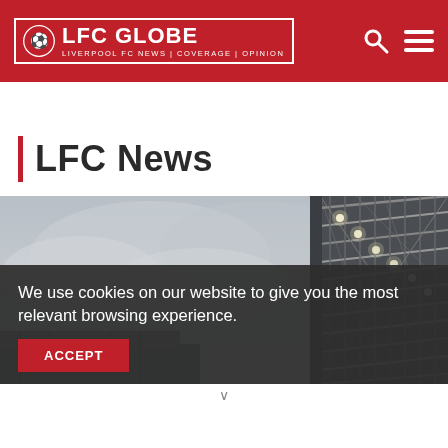LFC GLOBE | LIVERPOOL FC NEWS | COVERAGE | OPINION
LFC News
[Figure (photo): Exterior view of a football stadium stand, showing structural steel roof framework with lights, against an overcast grey sky. The image is cropped to show upper structure on the right and lower stand on the left.]
We use cookies on our website to give you the most relevant browsing experience.